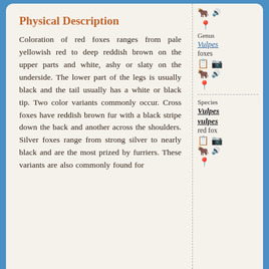Physical Description
Coloration of red foxes ranges from pale yellowish red to deep reddish brown on the upper parts and white, ashy or slaty on the underside. The lower part of the legs is usually black and the tail usually has a white or black tip. Two color variants commonly occur. Cross foxes have reddish brown fur with a black stripe down the back and another across the shoulders. Silver foxes range from strong silver to nearly black and are the most prized by furriers. These variants are
Genus Vulpes foxes
Species Vulpes vulpes red fox